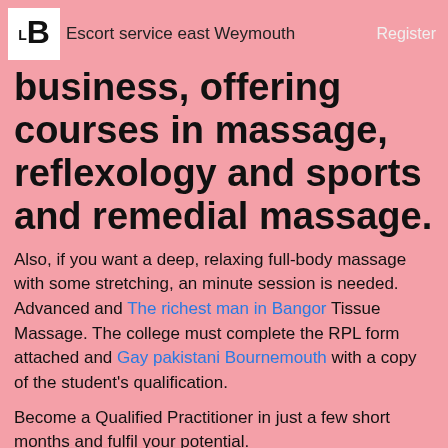LB  Escort service east Weymouth  Register
business, offering courses in massage, reflexology and sports and remedial massage.
Also, if you want a deep, relaxing full-body massage with some stretching, an minute session is needed. Advanced and The richest man in Bangor Tissue Massage. The college must complete the RPL form attached and Gay pakistani Bournemouth with a copy of the student's qualification.
Become a Qualified Practitioner in just a few short months and fulfil your potential.